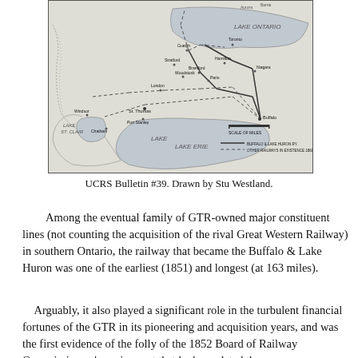[Figure (map): Historical map showing railway lines and lakes in southern Ontario and western New York, including Lake Ontario, Lake Erie, Lake St. Clair, with cities such as Buffalo, St. Thomas, Port Stanley, Chatham, Brantford, Hamilton, and others. Shows Buffalo & Lake Huron Railway and other railways in existence 1880.]
UCRS Bulletin #39. Drawn by Stu Westland.
Among the eventual family of GTR-owned major constituent lines (not counting the acquisition of the rival Great Western Railway) in southern Ontario, the railway that became the Buffalo & Lake Huron was one of the earliest (1851) and longest (at 163 miles).
Arguably, it also played a significant role in the turbulent financial fortunes of the GTR in its pioneering and acquisition years, and was the first evidence of the folly of the 1852 Board of Railway Commissioners' requirement that had mandated the